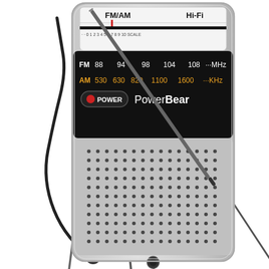[Figure (photo): A PowerBear FM/AM Hi-Fi portable pocket radio in silver/gray color. The radio has a telescoping antenna extending diagonally to the upper left, a black wrist strap. The top portion has a tuning dial with a red indicator needle showing FM/AM scale (FM: 88, 94, 98, 104, 108 MHz; AM: 530, 630, 820, 1100, 1600 KHz). Below the dial is a black face plate with a red power button labeled POWER and the brand name PowerBear in white/gray text. The lower two-thirds of the radio body is a silver speaker grille with a dot/perforation pattern. At the very bottom is a small control knob.]